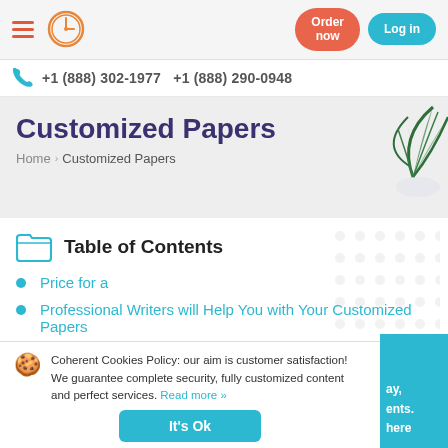Navigation header with hamburger menu, clock icon, Order now button, Log in button
+1 (888) 302-1977   +1 (888) 290-0948
Customized Papers
Home › Customized Papers
Table of Contents
Price for a
Professional Writers will Help You with Your Customized Papers
High-Quality, Low-Cost Customized Papers
Order Customized Papers 24×7
Coherent Cookies Policy: our aim is customer satisfaction! We guarantee complete security, fully customized content and perfect services. Read more »
It's Ok